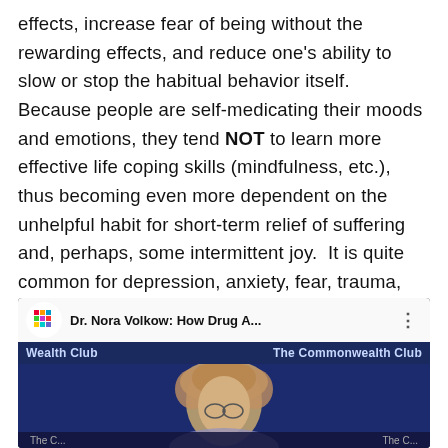effects, increase fear of being without the rewarding effects, and reduce one's ability to slow or stop the habitual behavior itself. Because people are self-medicating their moods and emotions, they tend NOT to learn more effective life coping skills (mindfulness, etc.), thus becoming even more dependent on the unhelpful habit for short-term relief of suffering and, perhaps, some intermittent joy. It is quite common for depression, anxiety, fear, trauma, and other serious life challenges to be the emotional bases for initial self-medicating behaviors.
[Figure (screenshot): YouTube video thumbnail showing Dr. Nora Volkow: How Drug A... by The Commonwealth Club, with a person with curly blonde hair visible in the video frame.]